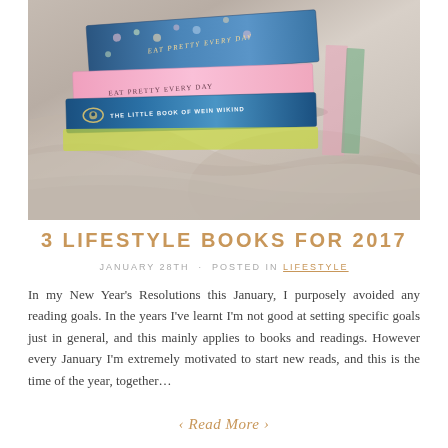[Figure (photo): Stack of books on top of rumpled bed linen/duvet. Visible books include 'EAT PRETTY EVERY DAY' with floral cover and 'THE LITTLE BOOK OF...' with eye logo on blue cover.]
3 LIFESTYLE BOOKS FOR 2017
JANUARY 28TH · POSTED IN LIFESTYLE
In my New Year's Resolutions this January, I purposely avoided any reading goals. In the years I've learnt I'm not good at setting specific goals just in general, and this mainly applies to books and readings. However every January I'm extremely motivated to start new reads, and this is the time of the year, together...
‹ Read More ›